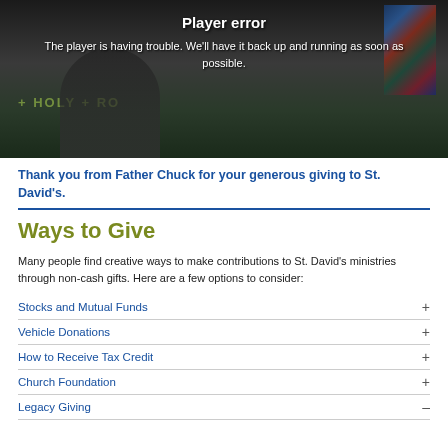[Figure (screenshot): Video player showing error message: 'Player error' and 'The player is having trouble. We'll have it back up and running as soon as possible.' Background shows a church interior with stained glass window and a person standing.]
Thank you from Father Chuck for your generous giving to St. David's.
Ways to Give
Many people find creative ways to make contributions to St. David's ministries through non-cash gifts. Here are a few options to consider:
Stocks and Mutual Funds
Vehicle Donations
How to Receive Tax Credit
Church Foundation
Legacy Giving